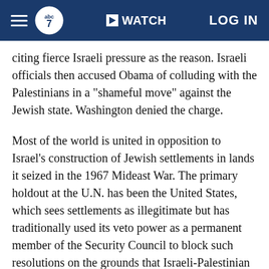ABC7 News — WATCH | LOG IN
citing fierce Israeli pressure as the reason. Israeli officials then accused Obama of colluding with the Palestinians in a "shameful move" against the Jewish state. Washington denied the charge.
Most of the world is united in opposition to Israel's construction of Jewish settlements in lands it seized in the 1967 Mideast War. The primary holdout at the U.N. has been the United States, which sees settlements as illegitimate but has traditionally used its veto power as a permanent member of the Security Council to block such resolutions on the grounds that Israeli-Palestinian disputes should be addressed through negotiation.